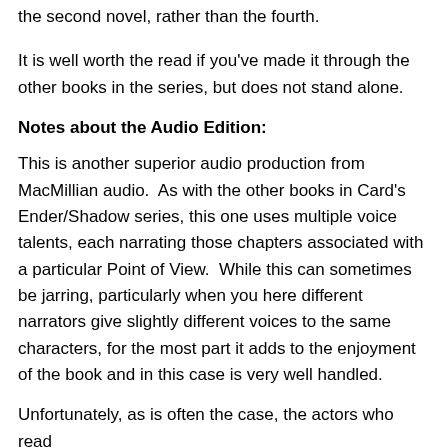the second novel, rather than the fourth.
It is well worth the read if you've made it through the other books in the series, but does not stand alone.
Notes about the Audio Edition:
This is another superior audio production from MacMillian audio.  As with the other books in Card's Ender/Shadow series, this one uses multiple voice talents, each narrating those chapters associated with a particular Point of View.  While this can sometimes be jarring, particularly when you here different narrators give slightly different voices to the same characters, for the most part it adds to the enjoyment of the book and in this case is very well handled.
Unfortunately, as is often the case, the actors who read